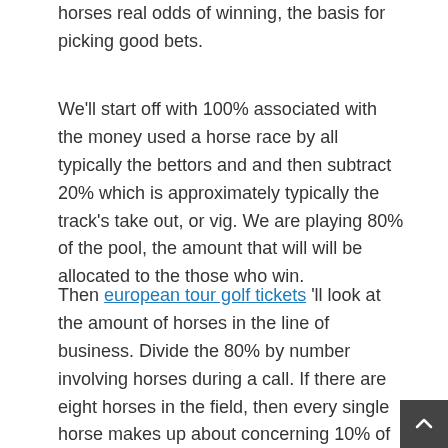horses real odds of winning, the basis for picking good bets.
We'll start off with 100% associated with the money used a horse race by all typically the bettors and and then subtract 20% which is approximately typically the track's take out, or vig. We are playing 80% of the pool, the amount that will will be allocated to the those who win.
Then european tour golf tickets 'll look at the amount of horses in the line of business. Divide the 80% by number involving horses during a call. If there are eight horses in the field, then every single horse makes up about concerning 10% of the pool area because 80 broken down by 8 compatible 10. Let's head out one step farther and call that will 10% an product.